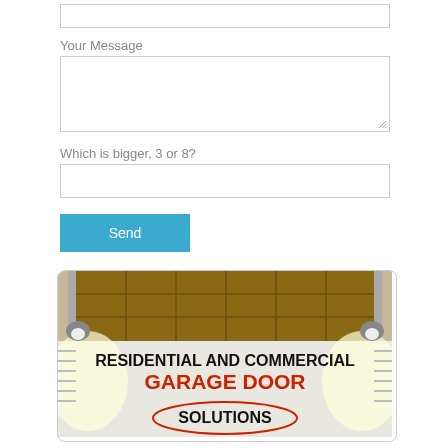[Figure (screenshot): Empty text input box at the top of the form]
Your Message
[Figure (screenshot): Textarea input box for message]
Which is bigger, 3 or 8?
[Figure (screenshot): Empty text input box for captcha answer]
[Figure (screenshot): Blue Send button]
[Figure (illustration): Advertisement image showing a garage door with text: RESIDENTIAL AND COMMERCIAL GARAGE DOOR SOLUTIONS]